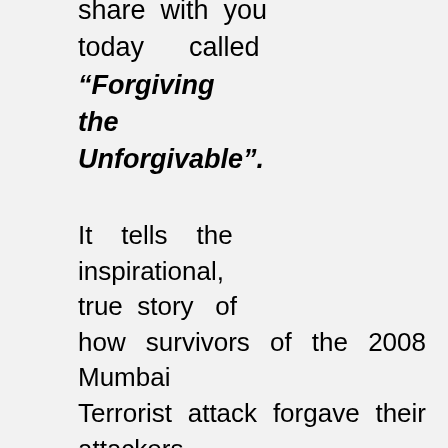share with you today called "Forgiving the Unforgivable".
Book
It tells the inspirational, true story of how survivors of the 2008 Mumbai Terrorist attack forgave their attackers. The book also shares how to learn to unconditionally forgive others (and yourself), through a holistic practice that is practical and transformational.